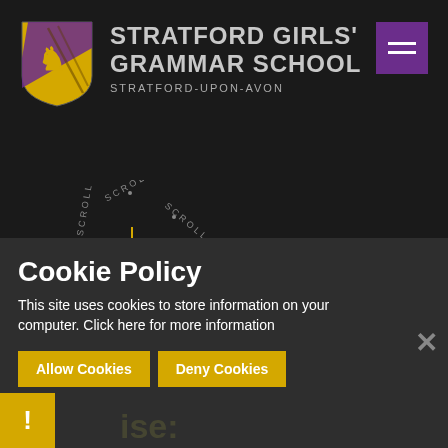[Figure (logo): Stratford Girls' Grammar School shield crest logo with yellow and purple shield containing a lion figure]
STRATFORD GIRLS' GRAMMAR SCHOOL
STRATFORD-UPON-AVON
[Figure (illustration): Circular scroll indicator with 'SCROLL' text arranged in a circle with a downward arrow in the center]
Cookie Policy
This site uses cookies to store information on your computer. Click here for more information
Allow Cookies
Deny Cookies